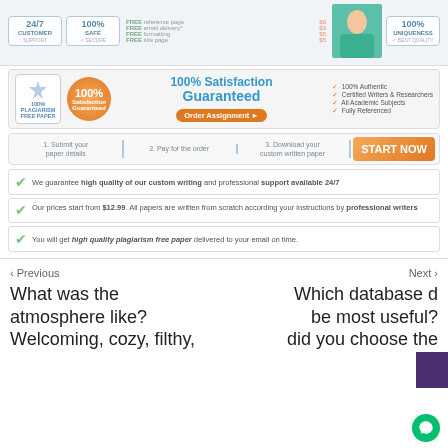[Figure (infographic): Top banner with badges for 24/7 Customer Support, 100% Safe, 100% Uniqueness, freebies list (FREE reference page $6, FREE email delivery $3, FREE formatting $5, FREE title page $5), and a person in teal shirt]
[Figure (infographic): 100% Satisfaction Guaranteed banner with shield badge, orange seal, order button, and checklist: 100% Authentic, Certified Writers & Researchers, All Academic Subjects, Fully Referenced]
[Figure (infographic): Steps row: 1. Submit your paper details, 2. Pay for the order, 3. Download your custom written paper, START NOW button]
We guarantee high quality of our custom writing and professional support available 24/7
Our prices start from $12.99. All papers are written from scratch according your instructions by professional writers
You will get high quality plagiarism free paper delivered to your email on time.
< Previous
Next >
What was the atmosphere like? Welcoming, cozy, filthy,
Which database d be most useful? did you choose the